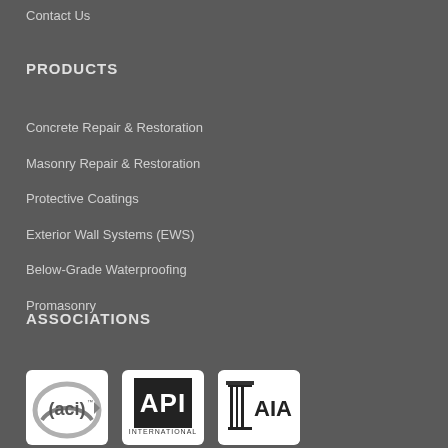Contact Us
PRODUCTS
Concrete Repair & Restoration
Masonry Repair & Restoration
Protective Coatings
Exterior Wall Systems (EWS)
Below-Grade Waterproofing
Promasonry
ASSOCIATIONS
[Figure (logo): ACI (American Concrete Institute) logo — circular arc with 'aci' text]
[Figure (logo): API International logo — stylized 'API' letters with 'INTERNATIONAL' text]
[Figure (logo): AIA logo — column/pillar icon with 'AIA' text]